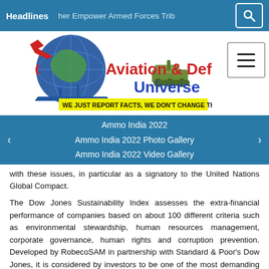Headlines   her Empower Armed Forces Trib
[Figure (logo): Aviation & Defence Universe logo with globe, aircraft, warship, and tank imagery. Tagline: WE JUST REPORT FACTS, WE DON'T CHANGE THEM]
Ammo India 2022
Ammo India 2022 Photo Gallery
Ammo India 2022 Video Gallery
with these issues, in particular as a signatory to the United Nations Global Compact.
The Dow Jones Sustainability Index assesses the extra-financial performance of companies based on about 100 different criteria such as environmental stewardship, human resources management, corporate governance, human rights and corruption prevention. Developed by RobecoSAM in partnership with Standard & Poor's Dow Jones, it is considered by investors to be one of the most demanding assessments of extra-financial performance in the world. In